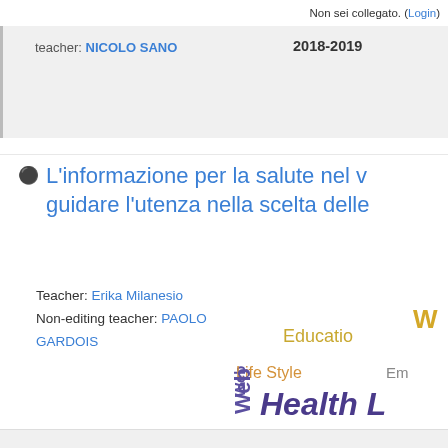Non sei collegato. (Login)
teacher: NICOLO SANO   2018-2019
L'informazione per la salute nel w... guidare l'utenza nella scelta delle...
Teacher: Erika Milanesio
Non-editing teacher: PAOLO GARDOIS
[Figure (illustration): Word cloud with health-related terms: Web, Education, Life Style, Empowerment, Health Literacy, Health L... in various sizes and colors (purple, orange, gold)]